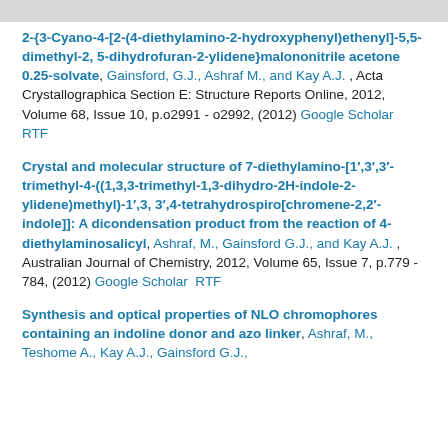2-{3-Cyano-4-[2-(4-diethylamino-2-hydroxyphenyl)ethenyl]-5,5-dimethyl-2, 5-dihydrofuran-2-ylidene}malononitrile acetone 0.25-solvate, Gainsford, G.J., Ashraf M., and Kay A.J. , Acta Crystallographica Section E: Structure Reports Online, 2012, Volume 68, Issue 10, p.o2991 - o2992, (2012) Google Scholar RTF
Crystal and molecular structure of 7-diethylamino-[1',3',3'- trimethyl-4-((1,3,3-trimethyl-1,3-dihydro-2H-indole-2-ylidene)methyl)-1',3, 3',4-tetrahydrospiro[chromene-2,2'-indole]]: A dicondensation product from the reaction of 4-diethylaminosalicyl, Ashraf, M., Gainsford G.J., and Kay A.J. , Australian Journal of Chemistry, 2012, Volume 65, Issue 7, p.779 - 784, (2012) Google Scholar RTF
Synthesis and optical properties of NLO chromophores containing an indoline donor and azo linker, Ashraf, M., Teshome A., Kay A.J., Gainsford G.J.,